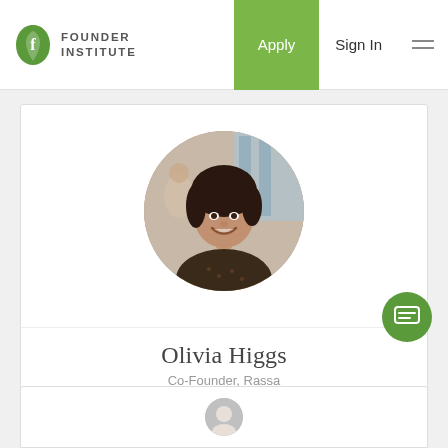Founder Institute — Apply | Sign In
[Figure (photo): Circular profile photo of Olivia Higgs, a young woman with dark curly hair, smiling, in what appears to be a restaurant or indoor setting.]
Olivia Higgs
Co-Founder, Rassa
[Figure (logo): LinkedIn icon in a green circle border]
[Figure (other): Green chat/message bubble button in bottom right]
[Figure (photo): Partially visible bottom card with a small circular avatar, bottom of page]